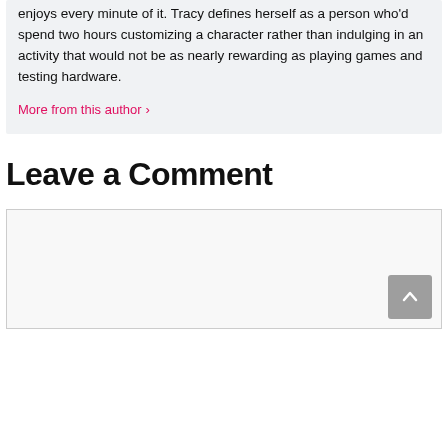enjoys every minute of it. Tracy defines herself as a person who'd spend two hours customizing a character rather than indulging in an activity that would not be as nearly rewarding as playing games and testing hardware.
More from this author ›
Leave a Comment
[Figure (other): Empty comment textarea input box with a scroll-to-top button (grey square with upward chevron arrow) in the bottom-right corner]